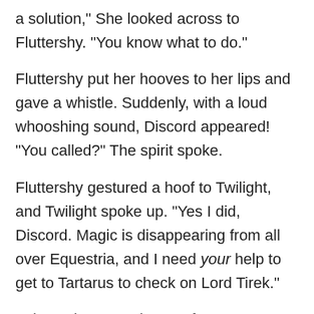a solution," She looked across to Fluttershy. "You know what to do."
Fluttershy put her hooves to her lips and gave a whistle. Suddenly, with a loud whooshing sound, Discord appeared! "You called?" The spirit spoke.
Fluttershy gestured a hoof to Twilight, and Twilight spoke up. "Yes I did, Discord. Magic is disappearing from all over Equestria, and I need your help to get to Tartarus to check on Lord Tirek."
"Oh my, how very brave of you, princess," Discord commented, dawning a cape. "But don't expect me to go into Tartarus with you. I don't think Tirek would be happy to see me after I kind of… well, you know."
Twilight nodded. "Not happy, of course. But I have a-